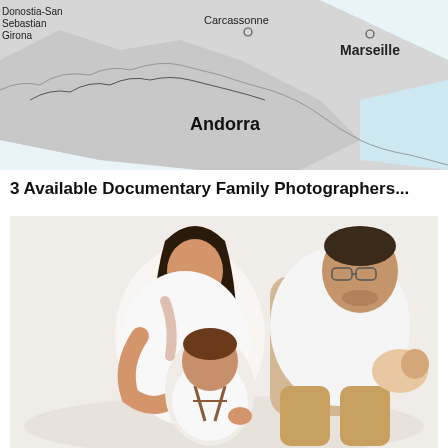[Figure (map): Partial map showing southern France and Andorra region, with cities Carcassonne, Marseille, and labels for Andorra, Donostia-San Sebastian, and Girona.]
3 Available Documentary Family Photographers...
[Figure (photo): Family photo on white background: mother and father seated, mother leaning over toddler boy in suspenders, father holding newborn baby, both parents looking down at children.]